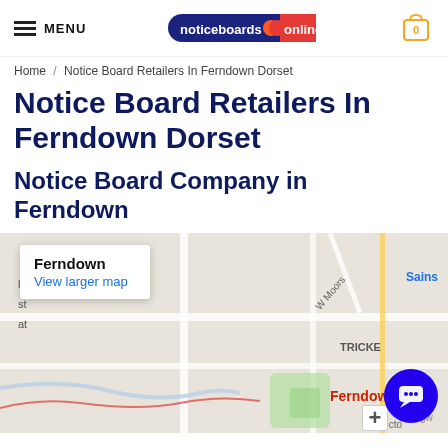MENU | noticeboards online | cart
Home / Notice Board Retailers In Ferndown Dorset
Notice Board Retailers In Ferndown Dorset
Notice Board Company in Ferndown
[Figure (map): Google Maps embed showing Ferndown area with street map. A popup shows 'Ferndown' with 'View larger map' link. Labels visible: town, Ferndown (in red), W Moors, TRICKE, Sains, Ringw, Victo. Street map with roads and green park area.]